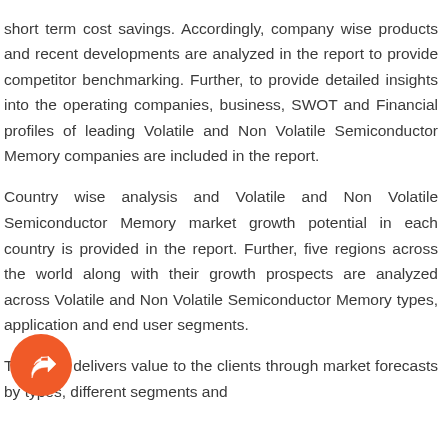short term cost savings. Accordingly, company wise products and recent developments are analyzed in the report to provide competitor benchmarking. Further, to provide detailed insights into the operating companies, business, SWOT and Financial profiles of leading Volatile and Non Volatile Semiconductor Memory companies are included in the report.
Country wise analysis and Volatile and Non Volatile Semiconductor Memory market growth potential in each country is provided in the report. Further, five regions across the world along with their growth prospects are analyzed across Volatile and Non Volatile Semiconductor Memory types, application and end user segments.
The report delivers value to the clients through market forecasts by types, different segments and